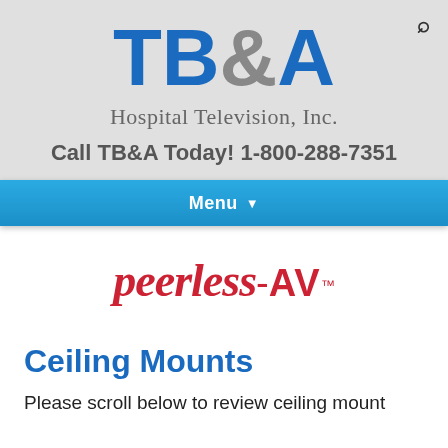[Figure (logo): TB&A Hospital Television, Inc. logo with blue TB&A text and gray ampersand]
Hospital Television, Inc.
Call TB&A Today! 1-800-288-7351
Menu
[Figure (logo): peerless-AV logo in red italic text]
Ceiling Mounts
Please scroll below to review ceiling mount